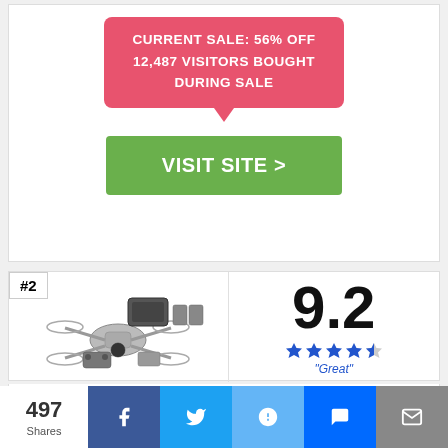CURRENT SALE: 56% OFF
12,487 VISITORS BOUGHT
DURING SALE
VISIT SITE >
#2
[Figure (photo): DJI drone kit with carrying case, remote controller, and accessories]
9.2
"Great"
DJI MAVIC
497 Shares